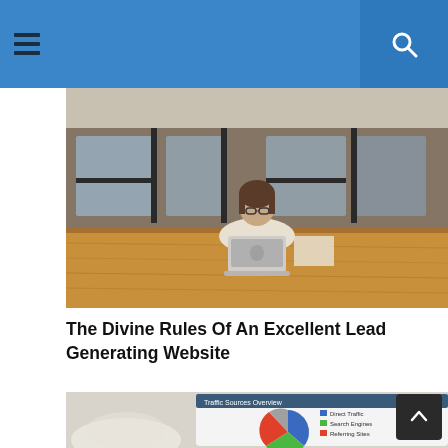[Navigation bar with hamburger menu and search icon]
[Figure (photo): Woman sitting at a large wooden conference table in an open industrial office space with brick walls and large windows, working on a laptop.]
The Divine Rules Of An Excellent Lead Generating Website
[Figure (photo): Close-up of a tablet or phone screen showing a web analytics dashboard with a pie chart (Traffic Sources Overview), next to a white coffee mug. Partial view.]